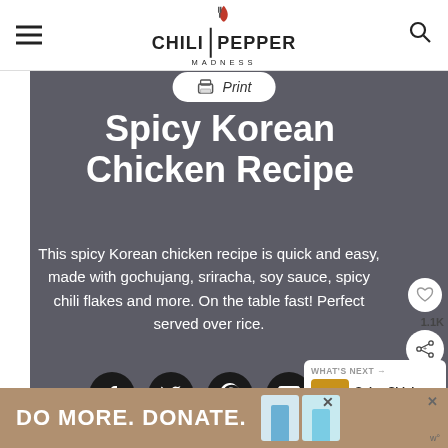Chili Pepper Madness
Spicy Korean Chicken Recipe
This spicy Korean chicken recipe is quick and easy, made with gochujang, sriracha, soy sauce, spicy chili flakes and more. On the table fast! Perfect served over rice.
[Figure (other): Social sharing icons: Facebook, Twitter, Pinterest, Email]
[Figure (other): What's Next panel showing Spicy Chicken Fried Rice]
[Figure (other): Bottom donation banner: DO MORE. DONATE.]